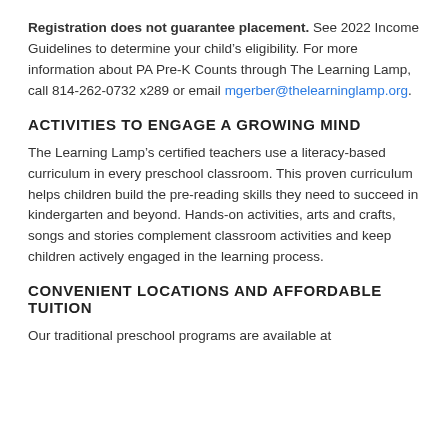Registration does not guarantee placement. See 2022 Income Guidelines to determine your child's eligibility. For more information about PA Pre-K Counts through The Learning Lamp, call 814-262-0732 x289 or email mgerber@thelearninglamp.org.
ACTIVITIES TO ENGAGE A GROWING MIND
The Learning Lamp's certified teachers use a literacy-based curriculum in every preschool classroom. This proven curriculum helps children build the pre-reading skills they need to succeed in kindergarten and beyond. Hands-on activities, arts and crafts, songs and stories complement classroom activities and keep children actively engaged in the learning process.
CONVENIENT LOCATIONS AND AFFORDABLE TUITION
Our traditional preschool programs are available at